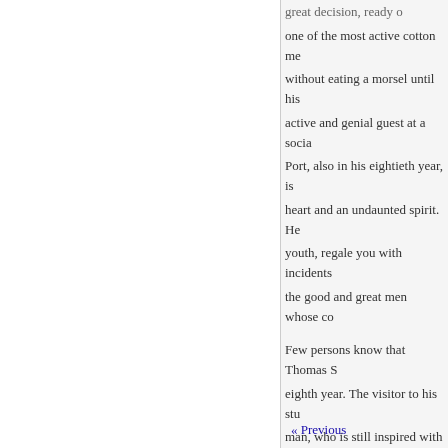great decision, ready ... one of the most active cotton me... without eating a morsel until his ... active and genial guest at a socia... Port, also in his eightieth year, is ... heart and an undaunted spirit. He ... youth, regale you with incidents ... the good and great men whose co...

Few persons know that Thomas S... eighth year. The visitor to his stu... man, who is still inspired with th...

He was born in England. Orig... His mother was English, and ca... lessons in Charleston, from a coa... From Charleston he came to Phil... Philadelphia about 1810, where h... paint Queen Victoria. He also too... not even surpassed in certain qua...

Mr. Sully is a musician of consid... Society for many years, and he is...
« Previous